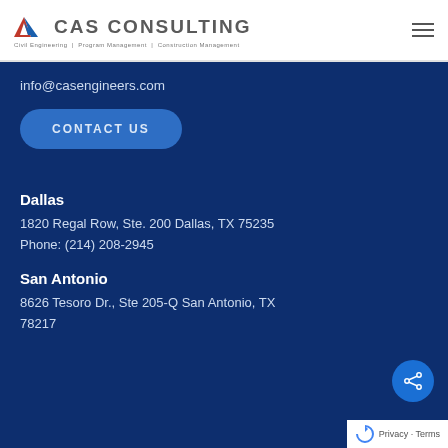CAS CONSULTING | Civil Engineering | Program Management | Construction Management
info@casengineers.com
CONTACT US
Dallas
1820 Regal Row, Ste. 200 Dallas, TX 75235
Phone: (214) 208-2945
San Antonio
8626 Tesoro Dr., Ste 205-Q San Antonio, TX 78217